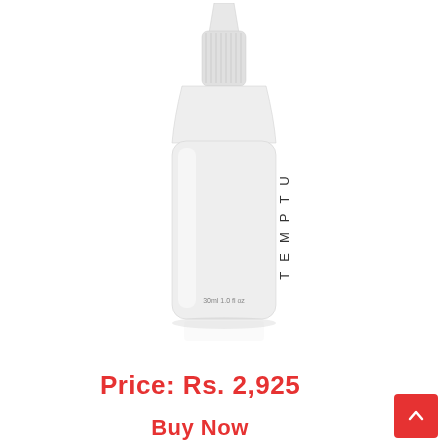[Figure (photo): White TEMPTU branded squeeze bottle with pointed tip cap, labeled '30ml 1.0 fl oz', shown on white background with subtle reflection]
Price: Rs. 2,925
Buy Now